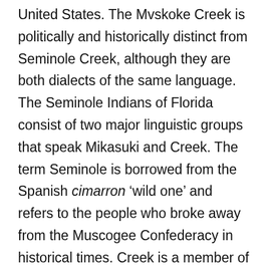United States. The Mvskoke Creek is politically and historically distinct from Seminole Creek, although they are both dialects of the same language. The Seminole Indians of Florida consist of two major linguistic groups that speak Mikasuki and Creek. The term Seminole is borrowed from the Spanish cimarron 'wild one' and refers to the people who broke away from the Muscogee Confederacy in historical times. Creek is a member of the eastern branch of the Muskogean language family. Related languages include Alabama, Koasati, Mikasuki, Hichiti, Choctaw, and Chickasaw.
Seminole Creek is politically and historically distinct from the Muscogee Creek language, but the